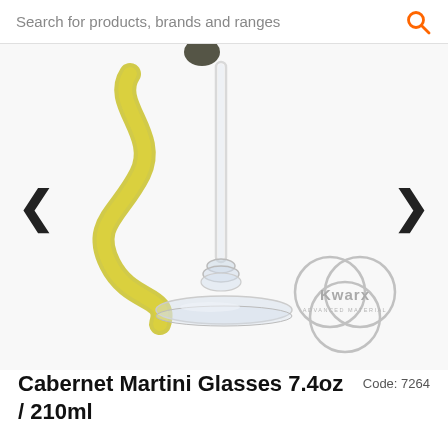Search for products, brands and ranges
[Figure (photo): Martini glass with a lemon twist garnish on a white background, with Kwarx Advanced Material logo watermark in lower right]
Cabernet Martini Glasses 7.4oz / 210ml
Code: 7264